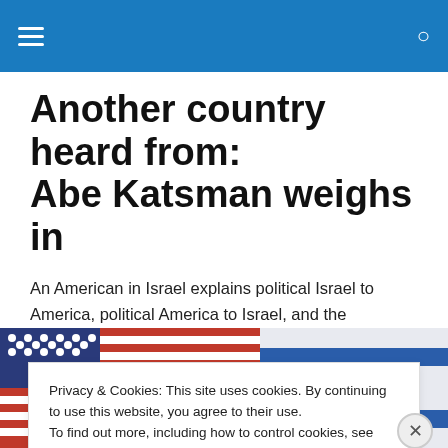Navigation bar with hamburger menu and search icon
Another country heard from: Abe Katsman weighs in
An American in Israel explains political Israel to America, political America to Israel, and the implications of the latest developments in both for each other's futures.
[Figure (photo): Photo of American and Israeli flags side by side]
Privacy & Cookies: This site uses cookies. By continuing to use this website, you agree to their use.
To find out more, including how to control cookies, see here: Cookie Policy
Close and accept